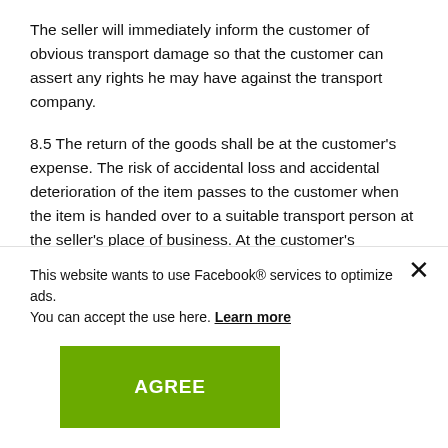The seller will immediately inform the customer of obvious transport damage so that the customer can assert any rights he may have against the transport company.
8.5 The return of the goods shall be at the customer's expense. The risk of accidental loss and accidental deterioration of the item passes to the customer when the item is handed over to a suitable transport person at the seller's place of business. At the customer's
This website wants to use Facebook® services to optimize ads. You can accept the use here. Learn more
AGREE